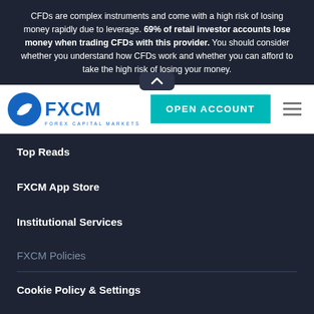CFDs are complex instruments and come with a high risk of losing money rapidly due to leverage. 69% of retail investor accounts lose money when trading CFDs with this provider. You should consider whether you understand how CFDs work and whether you can afford to take the high risk of losing your money.
[Figure (logo): FXCM Forex Capital Markets logo with teal Open Account button and hamburger menu]
Top Reads
FXCM App Store
Institutional Services
FXCM Policies
Cookie Policy & Settings
Privacy Policy